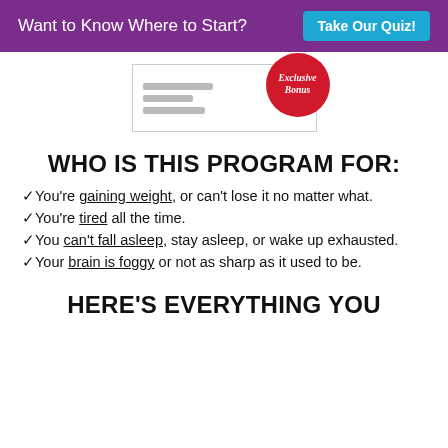Want to Know Where to Start? Take Our Quiz!
[Figure (other): Promotional image of a document with an 'Exclusive Bonus' red circular badge stamp]
WHO IS THIS PROGRAM FOR:
✓You're gaining weight, or can't lose it no matter what.
✓You're tired all the time.
✓You can't fall asleep, stay asleep, or wake up exhausted.
✓Your brain is foggy or not as sharp as it used to be.
HERE'S EVERYTHING YOU